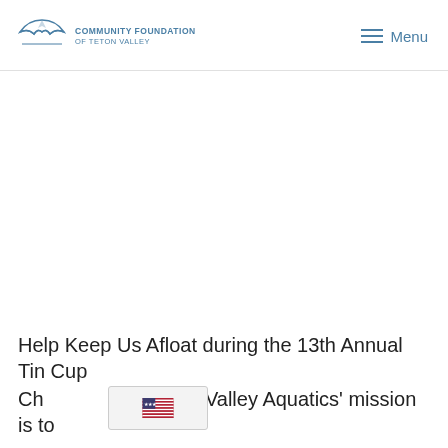COMMUNITY FOUNDATION OF TETON VALLEY | Menu
[Figure (logo): Community Foundation of Teton Valley logo with mountain arc graphic and text]
Help Keep Us Afloat during the 13th Annual Tin Cup Ch... Teton Valley Aquatics' mission is to